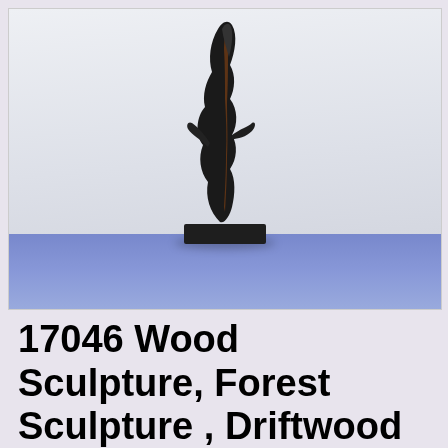[Figure (photo): A dark metallic-looking wood sculpture on a black square base, displayed on a blue surface against a light background. The sculpture is tall and twisted, resembling driftwood, with dark brown/black tones and some warm orange-brown highlights.]
17046 Wood Sculpture, Forest Sculpture , Driftwood Sculpture ; Forest